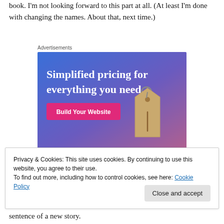book. I'm not looking forward to this part at all. (At least I'm done with changing the names. About that, next time.)
Advertisements
[Figure (illustration): Advertisement banner with blue-to-purple gradient background, white serif text reading 'Simplified pricing for everything you need.', a pink 'Build Your Website' button, and a 3D price tag graphic on the right.]
Privacy & Cookies: This site uses cookies. By continuing to use this website, you agree to their use.
To find out more, including how to control cookies, see here: Cookie Policy
sentence of a new story.